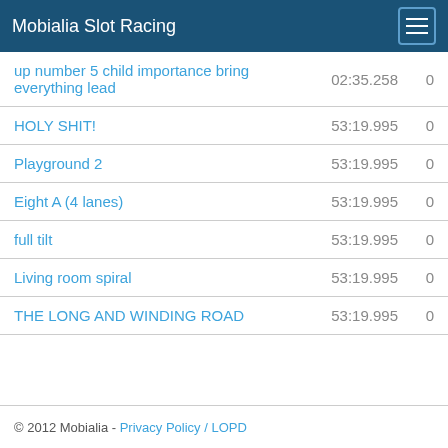Mobialia Slot Racing
| Track | Time | Score |
| --- | --- | --- |
| up number 5 child importance bring everything lead | 02:35.258 | 0 |
| HOLY SHIT! | 53:19.995 | 0 |
| Playground 2 | 53:19.995 | 0 |
| Eight A (4 lanes) | 53:19.995 | 0 |
| full tilt | 53:19.995 | 0 |
| Living room spiral | 53:19.995 | 0 |
| THE LONG AND WINDING ROAD | 53:19.995 | 0 |
© 2012 Mobialia - Privacy Policy / LOPD